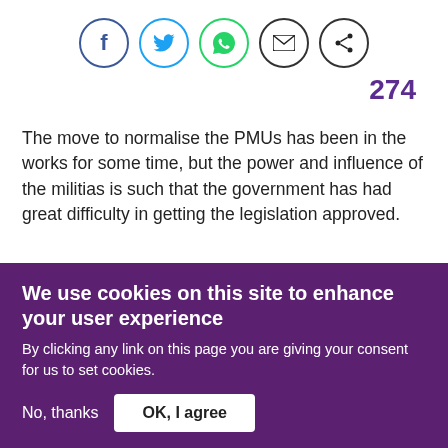[Figure (other): Social sharing icons: Facebook (blue circle), Twitter (blue circle), WhatsApp (green circle), Email (black circle), Share (black circle)]
274
The move to normalise the PMUs has been in the works for some time, but the power and influence of the militias is such that the government has had great difficulty in getting the legislation approved.
We use cookies on this site to enhance your user experience
By clicking any link on this page you are giving your consent for us to set cookies.
No, thanks
OK, I agree